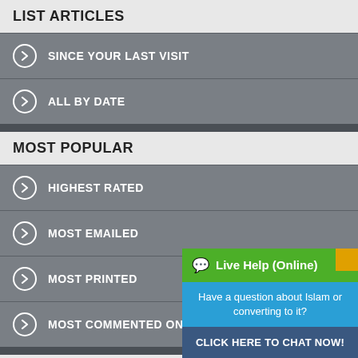LIST ARTICLES
SINCE YOUR LAST VISIT
ALL BY DATE
MOST POPULAR
HIGHEST RATED
MOST EMAILED
MOST PRINTED
MOST COMMENTED ON
YOUR FAVORITES
YOUR HISTORY
[Figure (infographic): Live Help (Online) widget with green header, blue body text 'Have a question about Islam or converting to it?', and dark blue button 'CLICK HERE TO CHAT NOW!']